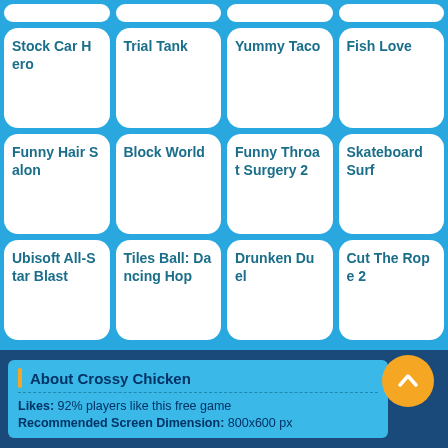[Figure (screenshot): App grid of mobile games with rounded white card tiles on blue background. Row 1 partial: 4 cards clipped at top. Row 2: Stock Car Hero, Trial Tank, Yummy Taco, Fish Love. Row 3: Funny Hair Salon, Block World, Funny Throat Surgery 2, Skateboard Surf. Row 4: Ubisoft All-Star Blast, Tiles Ball: Dancing Hop, Drunken Duel, Cut The Rope 2.]
Stock Car Hero
Trial Tank
Yummy Taco
Fish Love
Funny Hair Salon
Block World
Funny Throat Surgery 2
Skateboard Surf
Ubisoft All-Star Blast
Tiles Ball: Dancing Hop
Drunken Duel
Cut The Rope 2
About Crossy Chicken
Likes: 92% players like this free game
Recommended Screen Dimension: 800x600 px